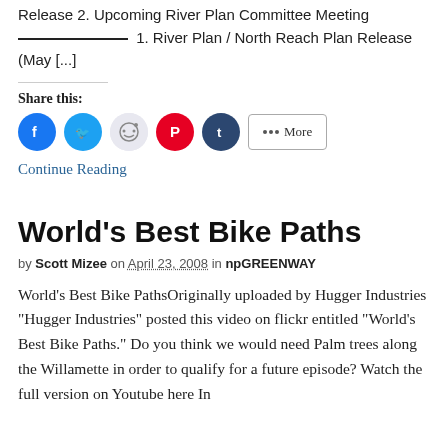Release 2. Upcoming River Plan Committee Meeting ____________ 1. River Plan / North Reach Plan Release (May [...]
Share this:
[Figure (infographic): Social share buttons: Facebook, Twitter, Reddit, Pinterest, Tumblr, and a More button]
Continue Reading
World's Best Bike Paths
by Scott Mizee on April 23, 2008 in npGREENWAY
World's Best Bike PathsOriginally uploaded by Hugger Industries "Hugger Industries" posted this video on flickr entitled "World's Best Bike Paths." Do you think we would need Palm trees along the Willamette in order to qualify for a future episode? Watch the full version on Youtube here In